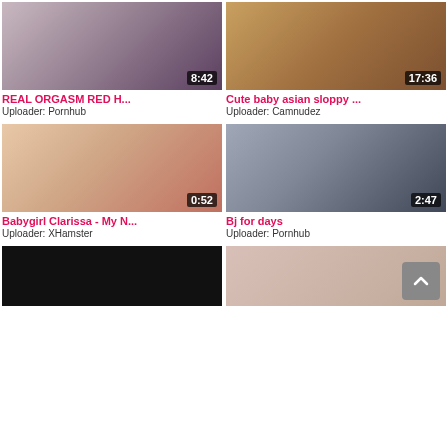[Figure (screenshot): Video thumbnail 1 - duration 8:42]
[Figure (screenshot): Video thumbnail 2 - duration 17:36]
REAL ORGASM RED H...
Uploader: Pornhub
Cute baby asian sloppy ...
Uploader: Camnudez
[Figure (screenshot): Video thumbnail 3 - duration 0:52]
[Figure (screenshot): Video thumbnail 4 - duration 2:47]
Babygirl Clarissa - My N...
Uploader: XHamster
Bj for days
Uploader: Pornhub
[Figure (screenshot): Video thumbnail 5 - partially visible]
[Figure (screenshot): Video thumbnail 6 - partially visible]